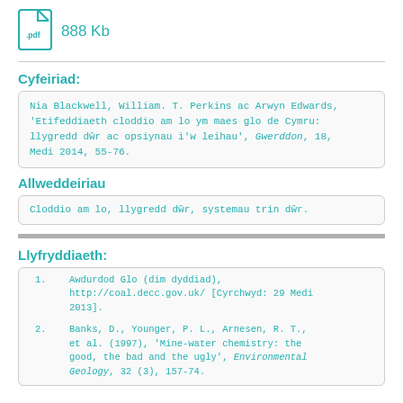[Figure (other): PDF file icon in teal/cyan color]
888 Kb
Cyfeiriad:
Nia Blackwell, William. T. Perkins ac Arwyn Edwards, 'Etifeddiaeth cloddio am lo ym maes glo de Cymru: llygredd dŵr ac opsiynau i'w leihau', Gwerddon, 18, Medi 2014, 55-76.
Allweddeiriau
Cloddio am lo, llygredd dŵr, systemau trin dŵr.
Llyfryddiaeth:
1. Awdurdod Glo (dim dyddiad), http://coal.decc.gov.uk/ [Cyrchwyd: 29 Medi 2013].
2. Banks, D., Younger, P. L., Arnesen, R. T., et al. (1997), 'Mine-water chemistry: the good, the bad and the ugly', Environmental Geology, 32 (3), 157-74.